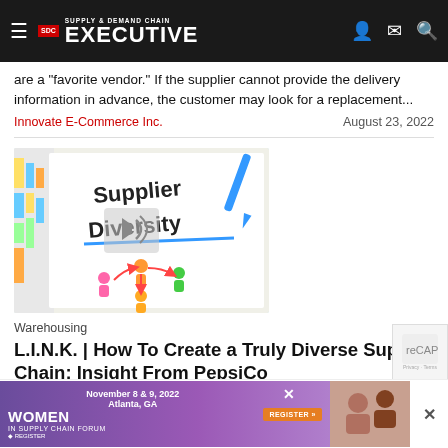Supply & Demand Chain Executive
are a "favorite vendor." If the supplier cannot provide the delivery information in advance, the customer may look for a replacement...
Innovate E-Commerce Inc.    August 23, 2022
[Figure (photo): Photo of a whiteboard with 'Supplier Diversity' written on it in handwritten text, with colorful illustrated figures of people connected by arrows and bar chart drawings in the background.]
Warehousing
L.I.N.K. | How To Create a Truly Diverse Supply Chain: Insight From PepsiCo
Supplier d... not only an ethical standpoint but also from a busin... standpoint.
[Figure (other): Advertisement banner for Women in Supply Chain Forum, November 8 & 9, 2022, Atlanta, GA with a Register button.]